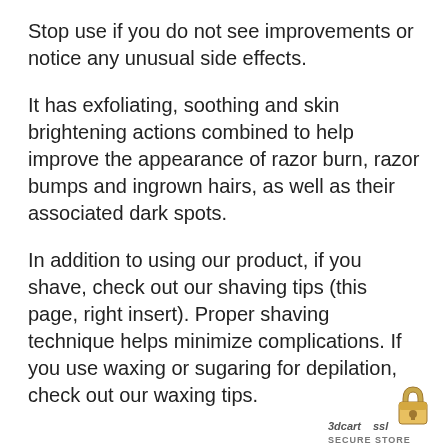Stop use if you do not see improvements or notice any unusual side effects.
It has exfoliating, soothing and skin brightening actions combined to help improve the appearance of razor burn, razor bumps and ingrown hairs, as well as their associated dark spots.
In addition to using our product, if you shave, check out our shaving tips (this page, right insert). Proper shaving technique helps minimize complications. If you use waxing or sugaring for depilation, check out our waxing tips.
[Figure (logo): 3dcart SSL Secure Store padlock badge in bottom right corner]